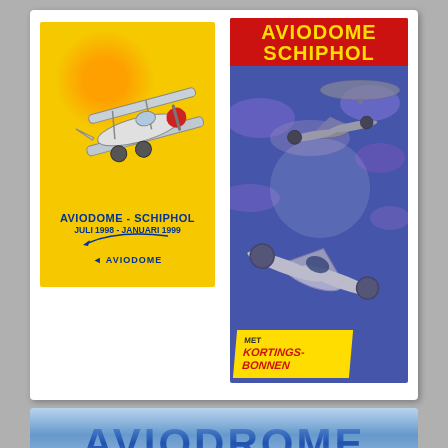[Figure (illustration): Two Aviodome Schiphol brochures side by side on a grey background. Left brochure: yellow background with a biplane illustration, text 'AVIODOME - SCHIPHOL JULI 1998 - JANUARI 1999' and Aviodome logo. Right brochure: purple/blue background with dramatic WWII aircraft artwork, red header 'AVIODOME SCHIPHOL' in yellow text, yellow badge 'MET KORTINGS-BONNEN'.]
[Figure (illustration): Bottom partial view of an Aviodome brochure/poster with blue sky background and large blue text 'AVIODOME'.]